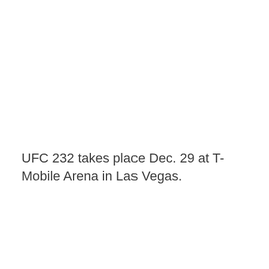UFC 232 takes place Dec. 29 at T-Mobile Arena in Las Vegas.